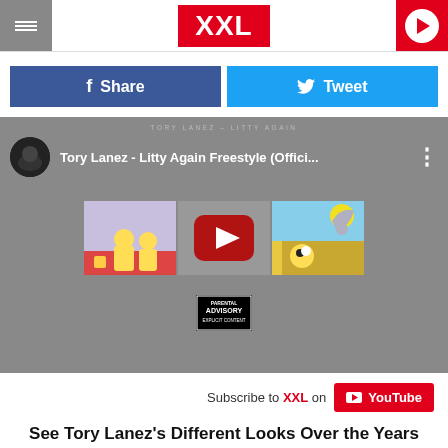XXL
Share  Tweet
[Figure (screenshot): YouTube embed showing Tory Lanez - Litty Again Freestyle (Offici... with SpongeBob cartoon thumbnails and a YouTube play button overlay, plus a Parental Advisory label at the bottom]
Subscribe to XXL on YouTube
See Tory Lanez's Different Looks Over the Years